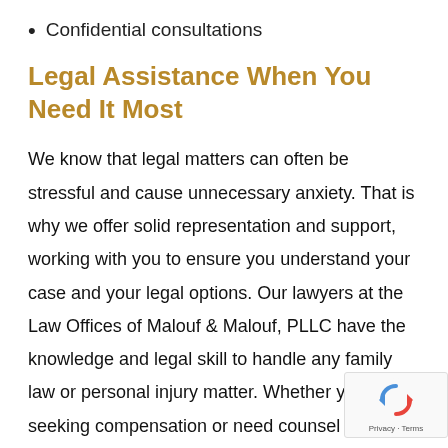Confidential consultations
Legal Assistance When You Need It Most
We know that legal matters can often be stressful and cause unnecessary anxiety. That is why we offer solid representation and support, working with you to ensure you understand your case and your legal options. Our lawyers at the Law Offices of Malouf & Malouf, PLLC have the knowledge and legal skill to handle any family law or personal injury matter. Whether you are seeking compensation or need counsel during divorce, we are always ready to help.